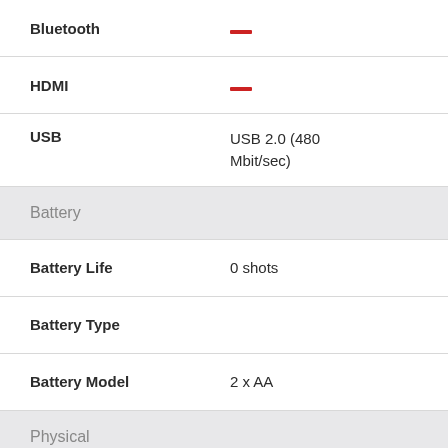| Feature | Value |
| --- | --- |
| Bluetooth | — |
| HDMI | — |
| USB | USB 2.0 (480 Mbit/sec) |
| Battery |  |
| Battery Life | 0 shots |
| Battery Type |  |
| Battery Model | 2 x AA |
| Physical |  |
| Weight | 204 g |